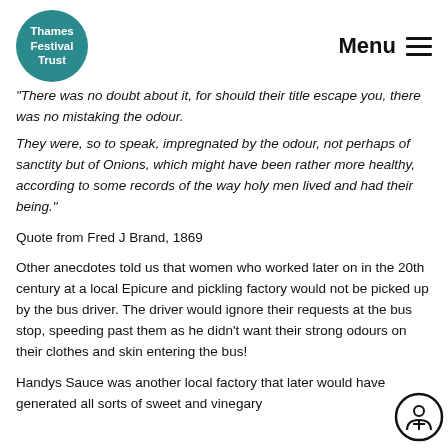Thames Festival Trust | Menu
“There was no doubt about it, for should their title escape you, there was no mistaking the odour. They were, so to speak, impregnated by the odour, not perhaps of sanctity but of Onions, which might have been rather more healthy, according to some records of the way holy men lived and had their being.”
Quote from Fred J Brand, 1869
Other anecdotes told us that women who worked later on in the 20th century at a local Epicure and pickling factory would not be picked up by the bus driver. The driver would ignore their requests at the bus stop, speeding past them as he didn’t want their strong odours on their clothes and skin entering the bus!
Handys Sauce was another local factory that later would have generated all sorts of sweet and vinegary...